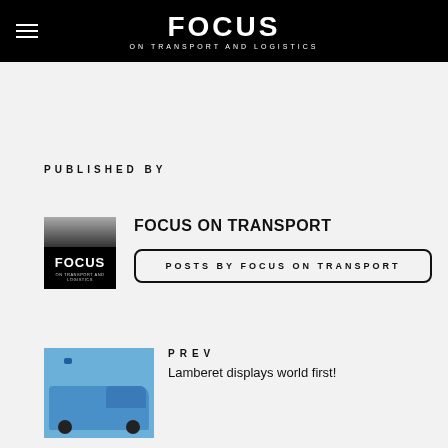FOCUS ON TRANSPORT AND LOGISTICS
PUBLISHED BY
[Figure (logo): Focus on Transport and Logistics square logo — black background with FOCUS text in white]
FOCUS ON TRANSPORT
POSTS BY FOCUS ON TRANSPORT
PREV
[Figure (photo): Photo of a blue/white van or ambulance with blue lights visible]
Lamberet displays world first!